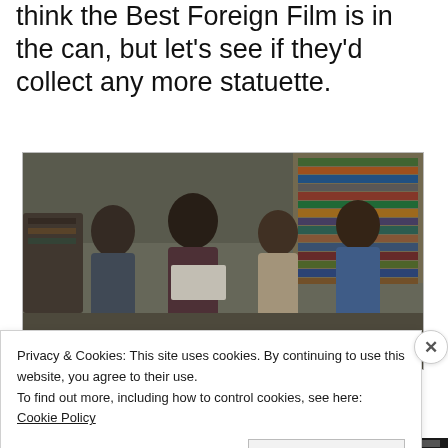think the Best Foreign Film is in the can, but let's see if they'd collect any more statuette.
[Figure (photo): A still from the film Parasite showing four Korean actors sitting together in a cramped room with stacks of items in the background. The scene appears tense, with the group looking at something off-camera.]
Privacy & Cookies: This site uses cookies. By continuing to use this website, you agree to their use.
To find out more, including how to control cookies, see here: Cookie Policy
Close and accept